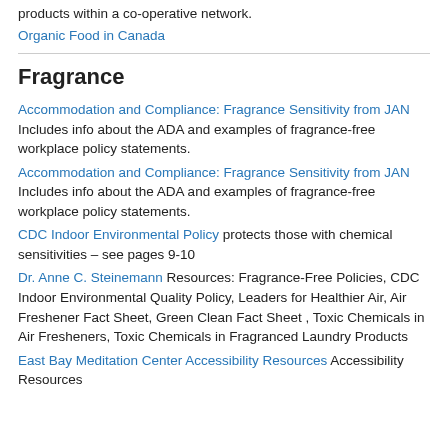products within a co-operative network.
Organic Food in Canada
Fragrance
Accommodation and Compliance: Fragrance Sensitivity from JAN Includes info about the ADA and examples of fragrance-free workplace policy statements.
Accommodation and Compliance: Fragrance Sensitivity from JAN Includes info about the ADA and examples of fragrance-free workplace policy statements.
CDC Indoor Environmental Policy protects those with chemical sensitivities – see pages 9-10
Dr. Anne C. Steinemann Resources: Fragrance-Free Policies, CDC Indoor Environmental Quality Policy, Leaders for Healthier Air, Air Freshener Fact Sheet, Green Clean Fact Sheet , Toxic Chemicals in Air Fresheners, Toxic Chemicals in Fragranced Laundry Products
East Bay Meditation Center Accessibility Resources Accessibility Resources
Fragrance...